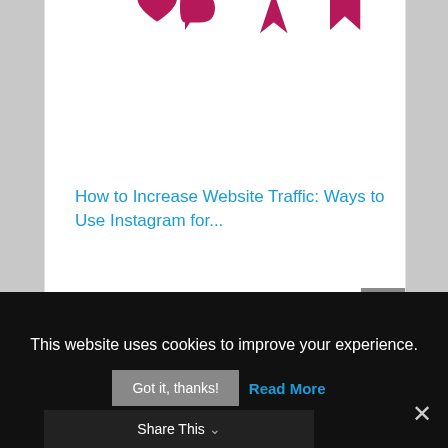[Figure (illustration): Four dark pink/magenta social media icons: heart, speech bubble, location pin/cursor, and bookmark ribbon, partially cropped at top]
How to Increase Website Traffic: Ways to Use Instagram for...
SHARE:
This website uses cookies to improve your experience.
Got it, thanks!
Read More
Share This